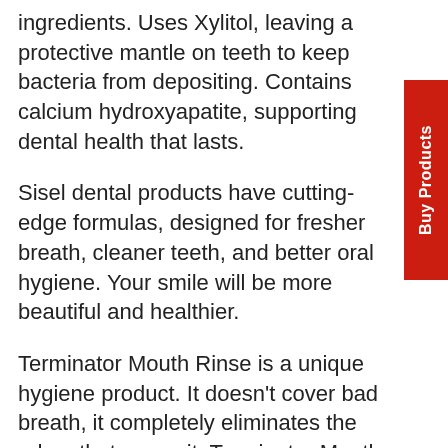ingredients. Uses Xylitol, leaving a protective mantle on teeth to keep bacteria from depositing. Contains calcium hydroxyapatite, supporting dental health that lasts.
Sisel dental products have cutting-edge formulas, designed for fresher breath, cleaner teeth, and better oral hygiene. Your smile will be more beautiful and healthier.
Terminator Mouth Rinse is a unique hygiene product. It doesn't cover bad breath, it completely eliminates the odors that cause it. Terminator Mouth Rinse doesn't contain alcohol or harmful chemicals.
The most important active ingredient in Terminator is stabilized chlorine dioxide, which eliminates odor and provides fresh breath. This chemical safe compound is so effective at fighting microbes that municipal water treatments often use it for disinfection.